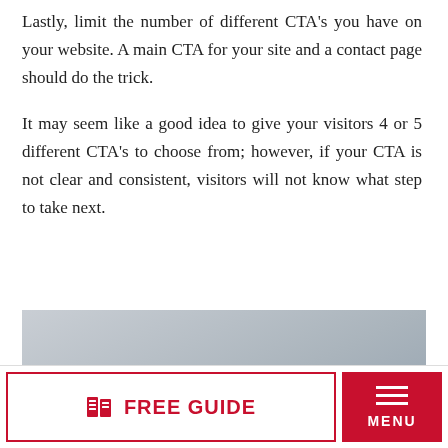Lastly, limit the number of different CTA's you have on your website. A main CTA for your site and a contact page should do the trick.
It may seem like a good idea to give your visitors 4 or 5 different CTA's to choose from; however, if your CTA is not clear and consistent, visitors will not know what step to take next.
[Figure (photo): Two people (a woman with glasses and long dark hair, and a man with short grey hair) photographed from the shoulders up against a grey background, both looking downward or to the side.]
FREE GUIDE | MENU